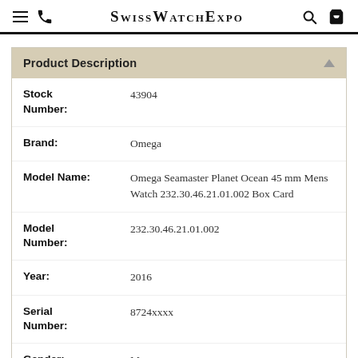SwissWatchExpo
Product Description
| Field | Value |
| --- | --- |
| Stock Number: | 43904 |
| Brand: | Omega |
| Model Name: | Omega Seamaster Planet Ocean 45 mm Mens Watch 232.30.46.21.01.002 Box Card |
| Model Number: | 232.30.46.21.01.002 |
| Year: | 2016 |
| Serial Number: | 8724xxxx |
| Gender: | Mens |